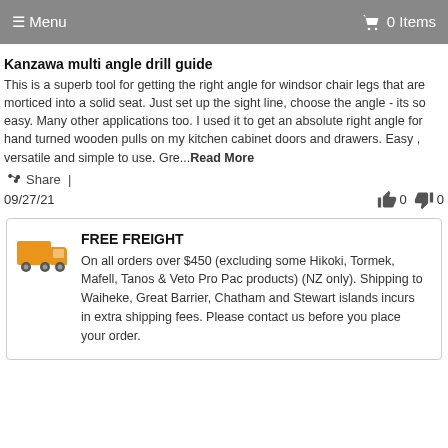≡ Menu   🛒 0 Items
Kanzawa multi angle drill guide
This is a superb tool for getting the right angle for windsor chair legs that are morticed into a solid seat. Just set up the sight line, choose the angle - its so easy. Many other applications too. I used it to get an absolute right angle for hand turned wooden pulls on my kitchen cabinet doors and drawers. Easy , versatile and simple to use. Gre...Read More
Share |
09/27/21   👍 0  👎 0
FREE FREIGHT
On all orders over $450 (excluding some Hikoki, Tormek, Mafell, Tanos & Veto Pro Pac products) (NZ only). Shipping to Waiheke, Great Barrier, Chatham and Stewart islands incurs in extra shipping fees. Please contact us before you place your order.